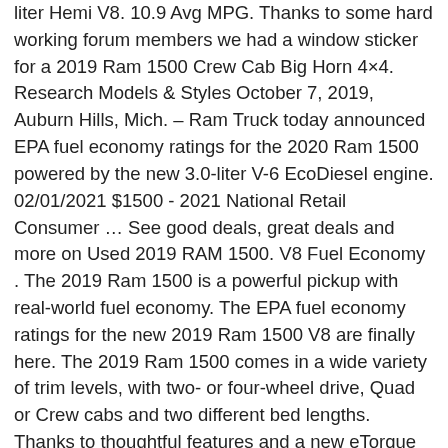liter Hemi V8. 10.9 Avg MPG. Thanks to some hard working forum members we had a window sticker for a 2019 Ram 1500 Crew Cab Big Horn 4×4. Research Models & Styles October 7, 2019, Auburn Hills, Mich. – Ram Truck today announced EPA fuel economy ratings for the 2020 Ram 1500 powered by the new 3.0-liter V-6 EcoDiesel engine. 02/01/2021 $1500 - 2021 National Retail Consumer … See good deals, great deals and more on Used 2019 RAM 1500. V8 Fuel Economy . The 2019 Ram 1500 is a powerful pickup with real-world fuel economy. The EPA fuel economy ratings for the new 2019 Ram 1500 V8 are finally here. The 2019 Ram 1500 comes in a wide variety of trim levels, with two- or four-wheel drive, Quad or Crew cabs and two different bed lengths. Thanks to thoughtful features and a new eTorque system, the Ram 1500 offers best-in-class available V8 4×4 combined fuel economy. As for its smaller unit, Ram is creating a hybrid version of the V8 engine. Capability. View detailed gas mileage data for the 2019 Ram 1500 Classic. 2019 Ram 1500 Classic V8 vs V6 fuel economy. At an EPA-rated 17 miles per gallon city, 22 highway, and 19 combined, the Ram 1500's fuel economy is merely average,